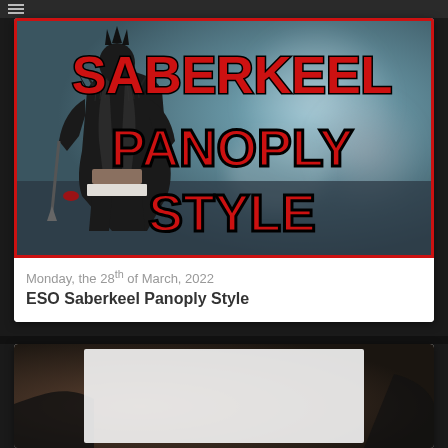[Figure (screenshot): Thumbnail image for ESO Saberkeel Panoply Style video. Shows a character in dark spiked armor on the left, with large red gothic text reading SABERKEEL PANOPLY STYLE on the right against a blurred background. Red border around the image.]
Monday, the 28th of March, 2022
ESO Saberkeel Panoply Style
[Figure (photo): Partial view of a second card/thumbnail below, showing dark brownish game environment.]